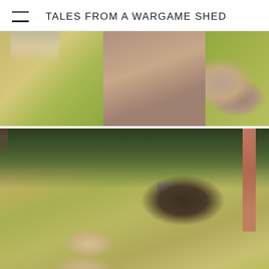TALES FROM A WARGAME SHED
[Figure (photo): Aerial view of a wargame table showing a green grass terrain with a courtyard garden area on the left and ruins/damaged brick building on the right side]
[Figure (photo): Aerial view of a wargame table showing miniature soldiers (dark uniforms) advancing across sandy/grassy terrain with sheep/animal miniatures in the foreground lower-left, trees along the top edge, and what appears to be a grey vehicle or box in the center-right area]